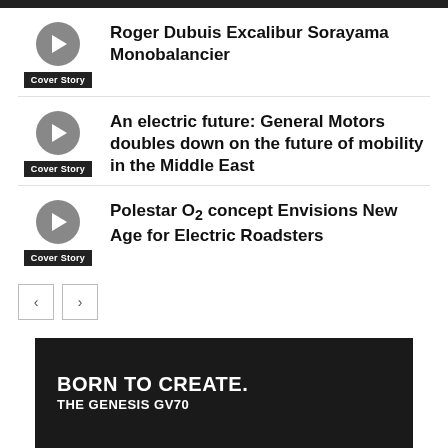Roger Dubuis Excalibur Sorayama Monobalancier
An electric future: General Motors doubles down on the future of mobility in the Middle East
Polestar O2 concept Envisions New Age for Electric Roadsters
[Figure (other): Advertisement banner: BORN TO CREATE. THE GENESIS GV70 on dark background]